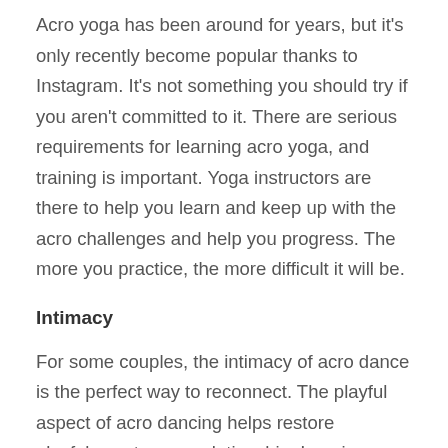Acro yoga has been around for years, but it's only recently become popular thanks to Instagram. It's not something you should try if you aren't committed to it. There are serious requirements for learning acro yoga, and training is important. Yoga instructors are there to help you learn and keep up with the acro challenges and help you progress. The more you practice, the more difficult it will be.
Intimacy
For some couples, the intimacy of acro dance is the perfect way to reconnect. The playful aspect of acro dancing helps restore playfulness to your relationship. Imagine being a child at a candy store or riding a teeter-totter. Both of these situations can be quite exhilarating. You'll both experience physical and mental elation after participating in an acro